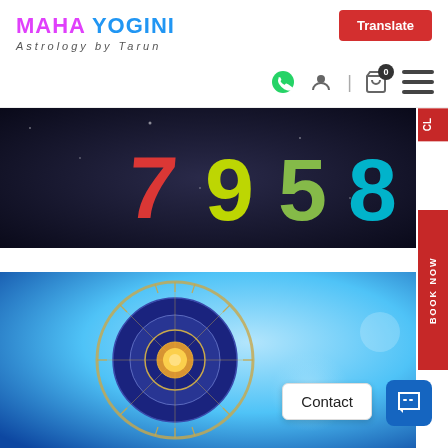MAHA YOGINI Astrology by Tarun
Translate
[Figure (screenshot): Numerology banner showing colorful 3D numbers 7, 9, 5, 8 on dark background]
[Figure (photo): Zodiac wheel with golden symbols on blue starry background]
Contact
BOOK NOW